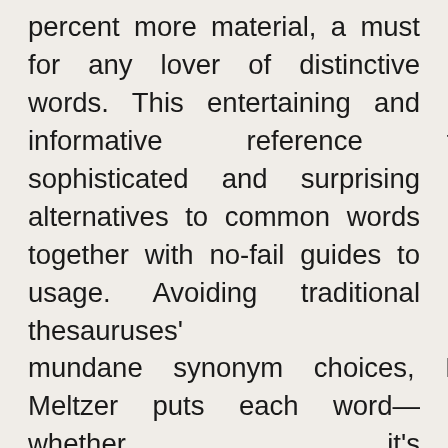percent more material, a must for any lover of distinctive words. This entertaining and informative reference features sophisticated and surprising alternatives to common words together with no-fail guides to usage. Avoiding traditional thesauruses' mundane synonym choices, Peter E. Meltzer puts each word—whether it's protrepic, apostrophize, iracund, or emulous—in context by using examples from a broad range of contemporary books, periodicals, and newspapers. His new introduction makes the case for why we should widen our vocabulary and use the one right word. This groundbreaking thesaurus remains a unique venture, one